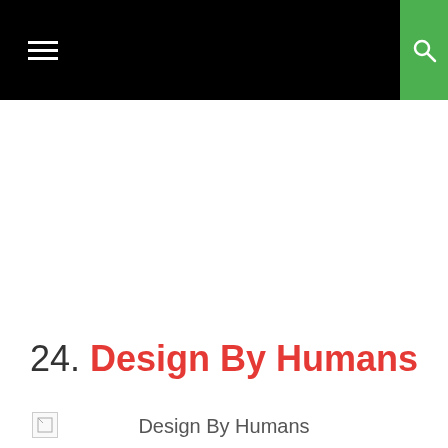≡  [search icon]
24. Design By Humans
[Figure (illustration): Broken image placeholder thumbnail]
Design By Humans